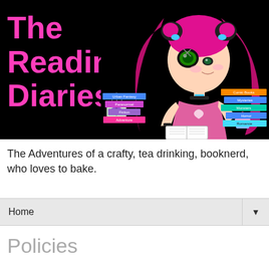[Figure (illustration): Blog header banner with black background. Left side shows large pink text 'The Reading Diaries'. Right side shows an anime-style chibi girl character with pink twintail hair, reading a book. Colorful genre category labels are shown: Urban Fantasy, Paranormal, Fiction, Adventure on the left side; Comic Books, Mysteries, Monsters, Horror, Romance on the right side.]
The Adventures of a crafty, tea drinking, booknerd, who loves to bake.
Home
Policies